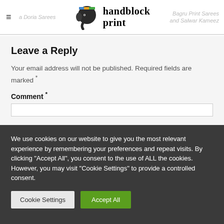≡ a Doria Sarees | handblock print | Bagru Print Sarees and Salwar Kameez
Leave a Reply
Your email address will not be published. Required fields are marked *
Comment *
We use cookies on our website to give you the most relevant experience by remembering your preferences and repeat visits. By clicking "Accept All", you consent to the use of ALL the cookies. However, you may visit "Cookie Settings" to provide a controlled consent.
Cookie Settings | Accept All